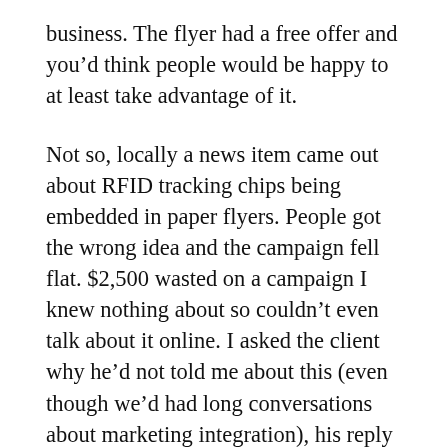business. The flyer had a free offer and you'd think people would be happy to at least take advantage of it.
Not so, locally a news item came out about RFID tracking chips being embedded in paper flyers. People got the wrong idea and the campaign fell flat. $2,500 wasted on a campaign I knew nothing about so couldn't even talk about it online. I asked the client why he'd not told me about this (even though we'd had long conversations about marketing integration), his reply was “Well it was just a flyer and it wasn’t online.”
Now of course, he wishes he'd not only listened